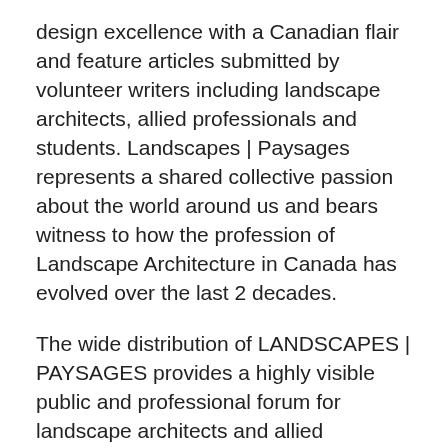design excellence with a Canadian flair and feature articles submitted by volunteer writers including landscape architects, allied professionals and students. Landscapes | Paysages represents a shared collective passion about the world around us and bears witness to how the profession of Landscape Architecture in Canada has evolved over the last 2 decades.
The wide distribution of LANDSCAPES | PAYSAGES provides a highly visible public and professional forum for landscape architects and allied professionals to share their ideas and their work with like-minded people. Visit the CSLA website for current and back issues of L|P.
Happy 20th Birthday, Landscapes | Paysages!